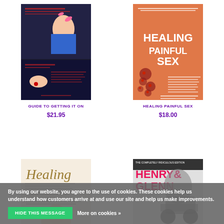[Figure (photo): Book cover: Guide to Getting It On]
[Figure (photo): Book cover: Healing Painful Sex]
GUIDE TO GETTING IT ON
HEALING PAINFUL SEX
$21.95
$18.00
[Figure (photo): Book cover: Healing (second title, partial)]
[Figure (photo): Book cover: Henry & Glenn – The Completely Ridiculous Edition]
By using our website, you agree to the use of cookies. These cookies help us understand how customers arrive at and use our site and help us make improvements.
HIDE THIS MESSAGE
More on cookies »